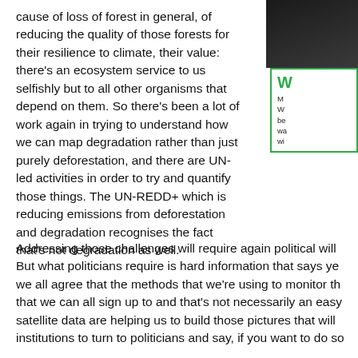cause of loss of forest in general, of reducing the quality of those forests for their resilience to climate, their value: there's an ecosystem service to us selfishly but to all other organisms that depend on them. So there's been a lot of work again in trying to understand how we can map degradation rather than just purely deforestation, and there are UN-led activities in order to try and quantify those things. The UN-REDD+ which is reducing emissions from deforestation and degradation recognises the fact that's not degradation as well.
[Figure (photo): Dark photograph of a person, partially visible in top right corner]
W

M W be wa wi
Addressing those challenges will require again political will But what politicians require is hard information that says ye we all agree that the methods that we're using to monitor th that we can all sign up to and that's not necessarily an easy satellite data are helping us to build those pictures that will institutions to turn to politicians and say, if you want to do so